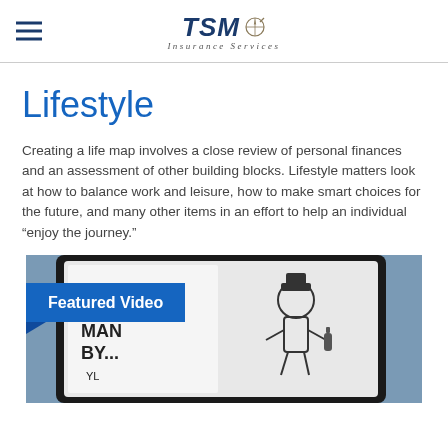TSM Insurance Services
Lifestyle
Creating a life map involves a close review of personal finances and an assessment of other building blocks. Lifestyle matters look at how to balance work and leisure, how to make smart choices for the future, and many other items in an effort to help an individual “enjoy the journey.”
[Figure (photo): A tablet or device showing a cartoonish drawing with text 'CHEST MAN BY...' and an illustrated figure, with a blue 'Featured Video' banner overlay in the bottom-left area of the image.]